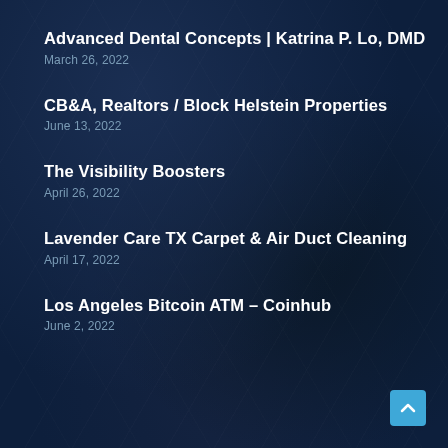Advanced Dental Concepts | Katrina P. Lo, DMD
March 26, 2022
CB&A, Realtors / Block Helstein Properties
June 13, 2022
The Visibility Boosters
April 26, 2022
Lavender Care TX Carpet & Air Duct Cleaning
April 17, 2022
Los Angeles Bitcoin ATM – Coinhub
June 2, 2022